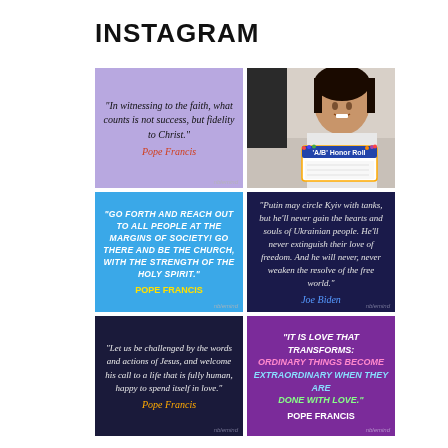INSTAGRAM
[Figure (illustration): Grid of 6 Instagram post images with quotes from Pope Francis, Joe Biden, and a photo of a smiling child holding an Honor Roll certificate]
"In witnessing to the faith, what counts is not success, but fidelity to Christ." Pope Francis
[Figure (photo): Photo of a smiling young girl holding an A/B Honor Roll certificate]
"GO FORTH AND REACH OUT TO ALL PEOPLE AT THE MARGINS OF SOCIETY! GO THERE AND BE THE CHURCH, WITH THE STRENGTH OF THE HOLY SPIRIT." POPE FRANCIS
"Putin may circle Kyiv with tanks, but he'll never gain the hearts and souls of Ukrainian people. He'll never extinguish their love of freedom. And he will never, never weaken the resolve of the free world." Joe Biden
"Let us be challenged by the words and actions of Jesus, and welcome his call to a life that is fully human, happy to spend itself in love." Pope Francis
"IT IS LOVE THAT TRANSFORMS: ORDINARY THINGS BECOME EXTRAORDINARY WHEN THEY ARE DONE WITH LOVE." POPE FRANCIS